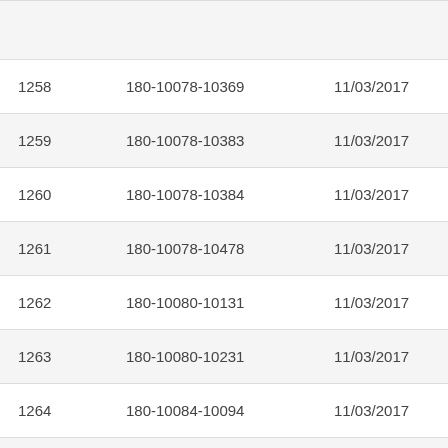|  |  |  |  |
| --- | --- | --- | --- |
| 1258 | 180-10078-10369 | 11/03/2017 | In Pa |
| 1259 | 180-10078-10383 | 11/03/2017 | In Pa |
| 1260 | 180-10078-10384 | 11/03/2017 | In Pa |
| 1261 | 180-10078-10478 | 11/03/2017 | In Pa |
| 1262 | 180-10080-10131 | 11/03/2017 | In Pa |
| 1263 | 180-10080-10231 | 11/03/2017 | In Pa |
| 1264 | 180-10084-10094 | 11/03/2017 | In Pa |
| 1265 | 180-10086-10235 | 11/03/2017 | In Pa |